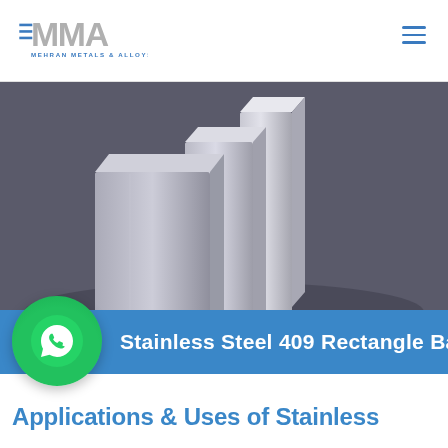[Figure (logo): MMA Mehran Metals & Alloys logo — large grey MMA text with horizontal lines on the left, 'MEHRAN METALS & ALLOYS' subtitle in blue]
[Figure (photo): Photo of several stainless steel rectangular/square bar stock pieces stacked together on a dark grey background]
Stainless Steel 409 Rectangle Bar
[Figure (logo): WhatsApp green circular button with phone handset icon]
Applications & Uses of Stainless